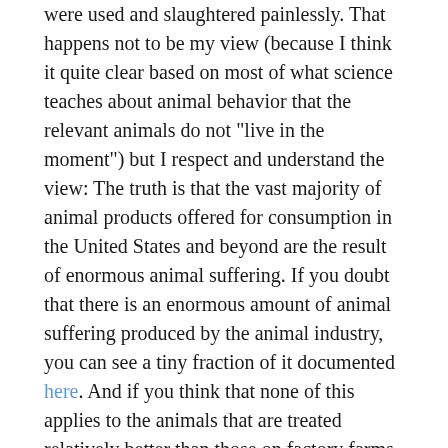were used and slaughtered painlessly. That happens not to be my view (because I think it quite clear based on most of what science teaches about animal behavior that the relevant animals do not "live in the moment") but I respect and understand the view: The truth is that the vast majority of animal products offered for consumption in the United States and beyond are the result of enormous animal suffering. If you doubt that there is an enormous amount of animal suffering produced by the animal industry, you can see a tiny fraction of it documented here. And if you think that none of this applies to the animals that are treated relatively better than those on factory farms, look here.
3) Leiter makes other arguments against veganism, all of which are addressed in a vast literature (very briefly described here) with which